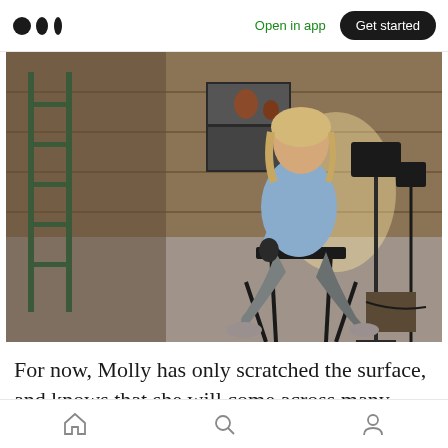Open in app | Get started
[Figure (photo): A woman with blonde hair wearing a light blue shirt and grey pants sits on a black stool in what appears to be a studio or workshop setting with wooden plank walls, a ladder, shelving with items, and studio lighting equipment on stands.]
For now, Molly has only scratched the surface, and knows that she will come across many, many
Home | Search | Profile